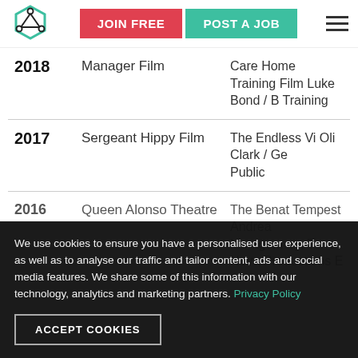JOIN FREE | POST A JOB
| Year | Role | Detail |
| --- | --- | --- |
| 2018 | Manager Film | Care Home Training Film Luke Bond / B Training |
| 2017 | Sergeant Hippy Film | The Endless Vi Oli Clark / Ge Public |
| 2016 | Queen Alonso Theatre | The Benat Tempest Andrea Montgomery, Terra Nova Productions E |
We use cookies to ensure you have a personalised user experience, as well as to analyse our traffic and tailor content, ads and social media features. We share some of this information with our technology, analytics and marketing partners. Privacy Policy
ACCEPT COOKIES